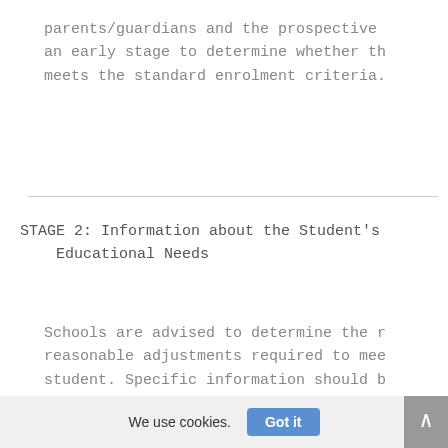parents/guardians and the prospective an early stage to determine whether th meets the standard enrolment criteria.
STAGE 2: Information about the Student's Educational Needs
Schools are advised to determine the r reasonable adjustments required to mee student. Specific information should b the student's history, including detai